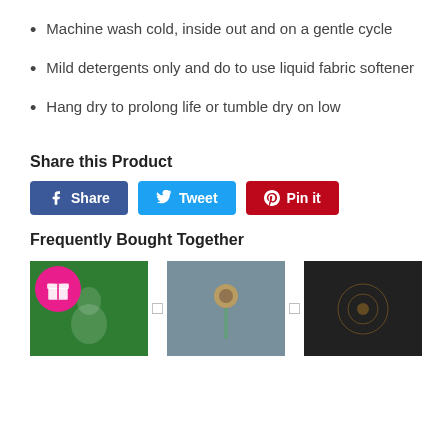Machine wash cold, inside out and on a gentle cycle
Mild detergents only and do to use liquid fabric softener
Hang dry to prolong life or tumble dry on low
Share this Product
[Figure (screenshot): Three social share buttons: Facebook Share (blue), Twitter Tweet (light blue), Pinterest Pin it (red)]
Frequently Bought Together
[Figure (photo): Three product t-shirt thumbnails shown side by side: a green Christmas snowman shirt, a teal sunflower shirt, and a black mandala/sunflower shirt. A pink gift badge icon overlays the first item.]